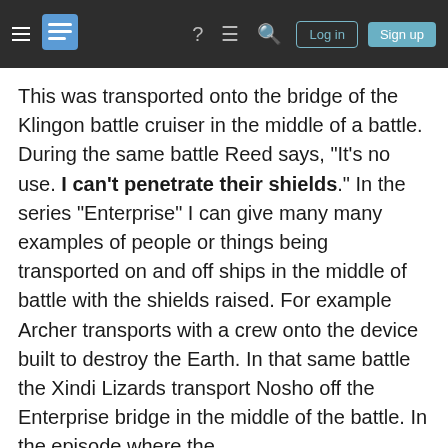Stack Exchange navigation bar with hamburger menu, logo, icons (help, chat, search), Log in and Sign up buttons
This was transported onto the bridge of the Klingon battle cruiser in the middle of a battle. During the same battle Reed says, "It's no use. I can't penetrate their shields." In the series "Enterprise" I can give many many examples of people or things being transported on and off ships in the middle of battle with the shields raised. For example Archer transports with a crew onto the device built to destroy the Earth. In that same battle the Xindi Lizards transport Nosho off the Enterprise bridge in the middle of the battle. In the episode where the
Your privacy
By clicking "Accept all cookies", you agree Stack Exchange can store cookies on your device and disclose information in accordance with our Cookie Policy.
Almost without question in the other series there